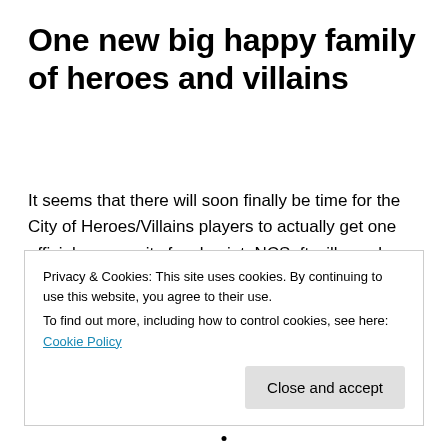One new big happy family of heroes and villains
It seems that there will soon finally be time for the City of Heroes/Villains players to actually get one official community focal point, NCSoft will now be merging the forums of the European and American communities and upgrade to some new forums software. Not a day too soon in my opinion - if … Continue reading →
Privacy & Cookies: This site uses cookies. By continuing to use this website, you agree to their use.
To find out more, including how to control cookies, see here: Cookie Policy